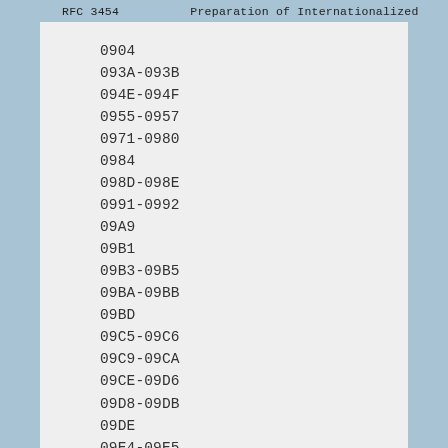RFC 3454    Preparation of Internationalized
0904
093A-093B
094E-094F
0955-0957
0971-0980
0984
098D-098E
0991-0992
09A9
09B1
09B3-09B5
09BA-09BB
09BD
09C5-09C6
09C9-09CA
09CE-09D6
09D8-09DB
09DE
09E4-09E5
09FB-0A01